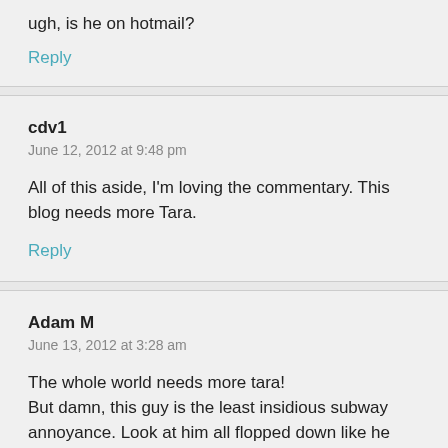ugh, is he on hotmail?
Reply
cdv1
June 12, 2012 at 9:48 pm
All of this aside, I'm loving the commentary. This blog needs more Tara.
Reply
Adam M
June 13, 2012 at 3:28 am
The whole world needs more tara!
But damn, this guy is the least insidious subway annoyance. Look at him all flopped down like he was in